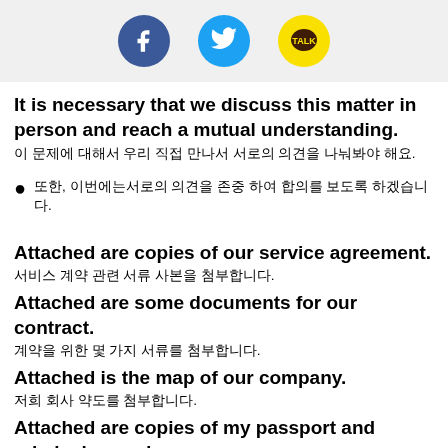Social media icons: Facebook, Twitter, KakaoTalk
It is necessary that we discuss this matter in person and reach a mutual understanding.
이 문제에 대해서 우리 직접 만나서 서로의 의견을 나눠봐야 해요.
또한, 이번에는 서로의 의견을 존중 하여 합의를 보도록 하겠습니다.
Attached are copies of our service agreement.
서비스 계약 관련 서류 사본을 첨부합니다.
Attached are some documents for our contract.
계약을 위한 몇 가지 서류를 첨부합니다.
Attached is the map of our company.
저희 회사 약도를 첨부합니다.
Attached are copies of my passport and criminal record.